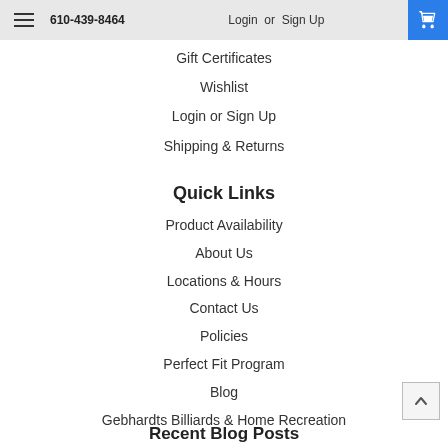610-439-8464   Login or Sign Up
Gift Certificates
Wishlist
Login or Sign Up
Shipping & Returns
Quick Links
Product Availability
About Us
Locations & Hours
Contact Us
Policies
Perfect Fit Program
Blog
Gebhardts Billiards & Home Recreation
Recent Blog Posts